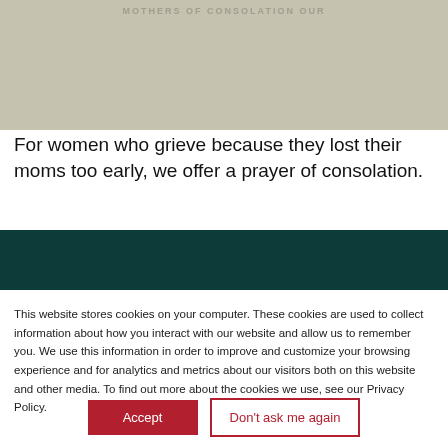[Figure (photo): Top portion of an image with beige/tan background color, partially cropped, with faint text at top]
For women who grieve because they lost their moms too early, we offer a prayer of consolation.
[Figure (photo): Dark teal/green colored image block, partially visible]
This website stores cookies on your computer. These cookies are used to collect information about how you interact with our website and allow us to remember you. We use this information in order to improve and customize your browsing experience and for analytics and metrics about our visitors both on this website and other media. To find out more about the cookies we use, see our Privacy Policy.
Accept
Don't ask me again